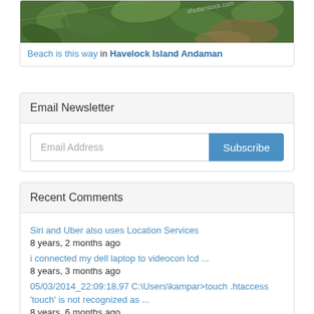[Figure (photo): Photo of green tropical leaves/plants along a path, partially visible at top of card]
Beach is this way in Havelock Island Andaman
Email Newsletter
Email Address [Subscribe button]
Recent Comments
Siri and Uber also uses Location Services
8 years, 2 months ago
i connected my dell laptop to videocon lcd ...
8 years, 3 months ago
05/03/2014_22:09:18,97 C:\Users\kampar>touch .htaccess 'touch' is not recognized as ...
8 years, 6 months ago
IRCTC Tatkal ticket booking script required...